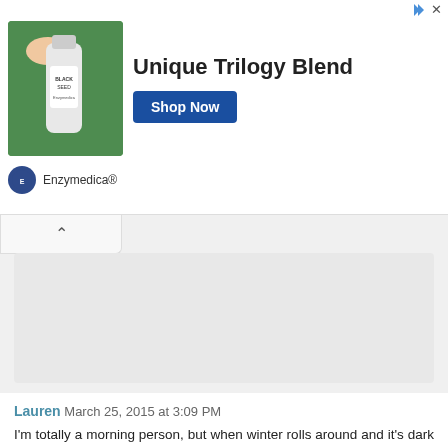[Figure (screenshot): Advertisement banner for Enzymedica with product bottle image on left, 'Unique Trilogy Blend' text in center, and 'Shop Now' blue button on right. Brand logo and name 'Enzymedica®' shown below.]
Lauren March 25, 2015 at 3:09 PM

I'm totally a morning person, but when winter rolls around and it's dark outside, I actually tend to sleep in a bit later than usual. What a great smoothie combo! I love mango so much in smoothies, it's actually acted as a banana replacer for me (since I don't tolerate the latter so well). ;-)